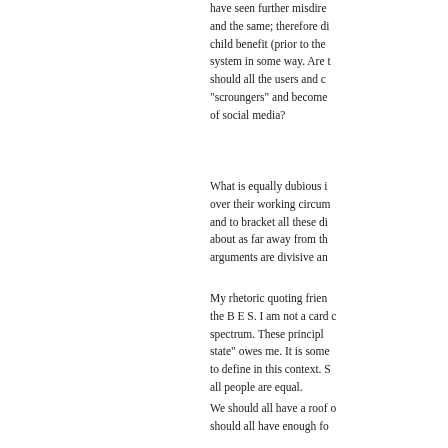have seen further misdirected and the same; therefore child benefit (prior to the system in some way. Are should all the users and "scroungers" and become of social media?
What is equally dubious over their working circum and to bracket all these di about as far away from th arguments are divisive an
My rhetoric quoting frien the B E S. I am not a card c spectrum. These principl state" owes me. It is some to define in this context. all people are equal.
We should all have a roof should all have enough fo